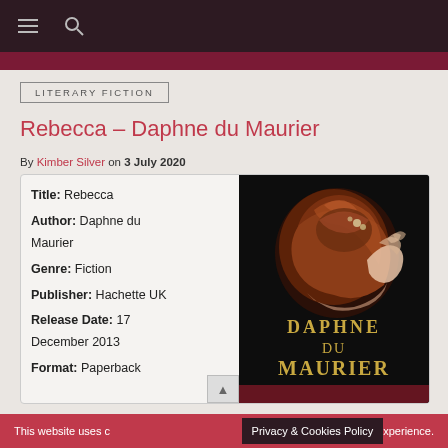Navigation bar with menu and search icons
LITERARY FICTION
Rebecca – Daphne du Maurier
By Kimber Silver on 3 July 2020
| Field | Value |
| --- | --- |
| Title: | Rebecca |
| Author: | Daphne du Maurier |
| Genre: | Fiction |
| Publisher: | Hachette UK |
| Release Date: | 17 December 2013 |
| Format: | Paperback |
[Figure (illustration): Book cover of Rebecca by Daphne du Maurier showing a woman with auburn hair in an updo against a dark background, with gold text showing DAPHNE DU MAURIER]
This website uses c Privacy & Cookies Policy xperience.